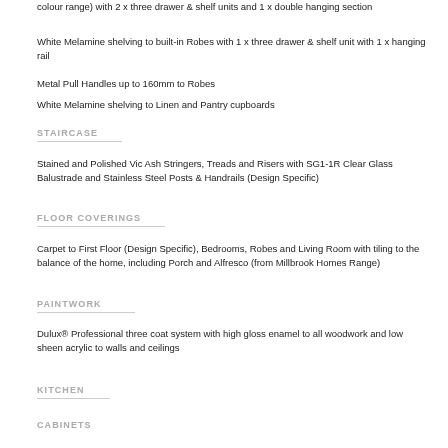colour range) with 2 x three drawer & shelf units and 1 x double hanging section
White Melamine shelving to built-in Robes with 1 x three drawer & shelf unit with 1 x hanging rail
Metal Pull Handles up to 160mm to Robes
White Melamine shelving to Linen and Pantry cupboards
STAIRCASE
Stained and Polished Vic Ash Stringers, Treads and Risers with SG1-1R Clear Glass Balustrade and Stainless Steel Posts & Handrails (Design Specific)
FLOOR COVERINGS
Carpet to First Floor (Design Specific), Bedrooms, Robes and Living Room with tiling to the balance of the home, including Porch and Alfresco (from Millbrook Homes Range)
PAINTWORK
Dulux® Professional three coat system with high gloss enamel to all woodwork and low sheen acrylic to walls and ceilings
KITCHEN
CABINETS